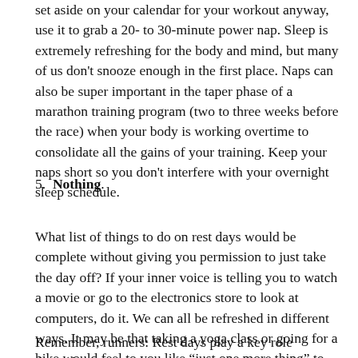set aside on your calendar for your workout anyway, use it to grab a 20- to 30-minute power nap. Sleep is extremely refreshing for the body and mind, but many of us don't snooze enough in the first place. Naps can also be super important in the taper phase of a marathon training program (two to three weeks before the race) when your body is working overtime to consolidate all the gains of your training. Keep your naps short so you don't interfere with your overnight sleep schedule.
5. Nothing.
What list of things to do on rest days would be complete without giving you permission to just take the day off? If your inner voice is telling you to watch a movie or go to the electronics store to look at computers, do it. We can all be refreshed in different ways. It may be that taking a yoga class or going for a hike would feel to you like “just one more thing” to do. If that’s the case, listen to that feedback inside you.
Remember, runners: Rest days play a key role throughout